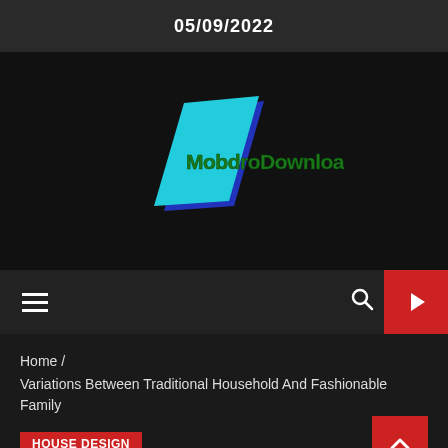05/09/2022
[Figure (logo): MobdroDownloads logo: cyan/blue tilted parallelogram shape with 'MobdroDownloads' text in green on black background]
Navigation bar with hamburger menu, search icon, and red play button
Home / Variations Between Traditional Household And Fashionable Family
House Design